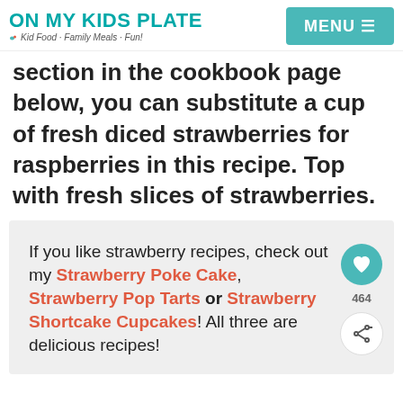ON MY KIDS PLATE | Kid Food - Family Meals - Fun! | MENU
section in the cookbook page below, you can substitute a cup of fresh diced strawberries for raspberries in this recipe. Top with fresh slices of strawberries.
If you like strawberry recipes, check out my Strawberry Poke Cake, Strawberry Pop Tarts or Strawberry Shortcake Cupcakes! All three are delicious recipes!